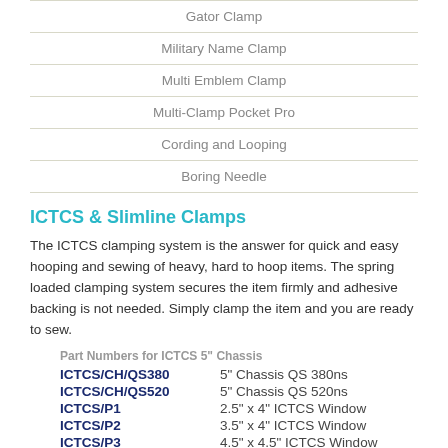Gator Clamp
Military Name Clamp
Multi Emblem Clamp
Multi-Clamp Pocket Pro
Cording and Looping
Boring Needle
ICTCS & Slimline Clamps
The ICTCS clamping system is the answer for quick and easy hooping and sewing of heavy, hard to hoop items. The spring loaded clamping system secures the item firmly and adhesive backing is not needed. Simply clamp the item and you are ready to sew.
Part Numbers for ICTCS 5" Chassis
ICTCS/CH/QS380 5" Chassis QS 380ns
ICTCS/CH/QS520 5" Chassis QS 520ns
ICTCS/P1   2.5" x 4" ICTCS Window
ICTCS/P2   3.5" x 4" ICTCS Window
ICTCS/P3   4.5" x 4.5" ICTCS Window